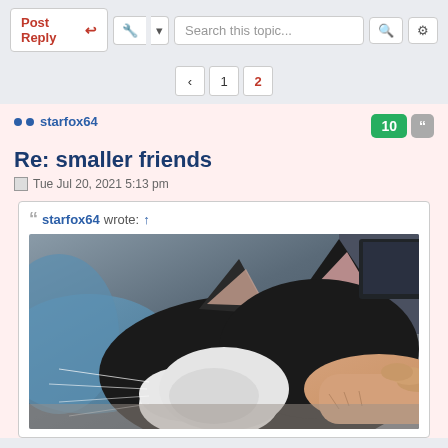Post Reply | Search this topic... | 1 2
starfox64
Re: smaller friends
Tue Jul 20, 2021 5:13 pm
starfox64 wrote: ↑
[Figure (photo): Close-up photograph of a black and white cat being petted by a human hand. The cat's large ears and white and black fur are prominently visible. Background shows a desk or workspace environment.]